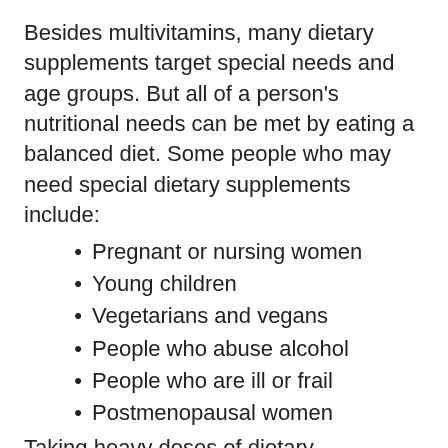Besides multivitamins, many dietary supplements target special needs and age groups. But all of a person's nutritional needs can be met by eating a balanced diet. Some people who may need special dietary supplements include:
Pregnant or nursing women
Young children
Vegetarians and vegans
People who abuse alcohol
People who are ill or frail
Postmenopausal women
Taking heavy doses of dietary supplements has not proven to be effective. In fact, it can be toxic. The National Institutes of Health does not advise supplementing the diet with vitamins or nutrients beyond the recommended daily allowances (RDAs). Always check with your healthcare provider before